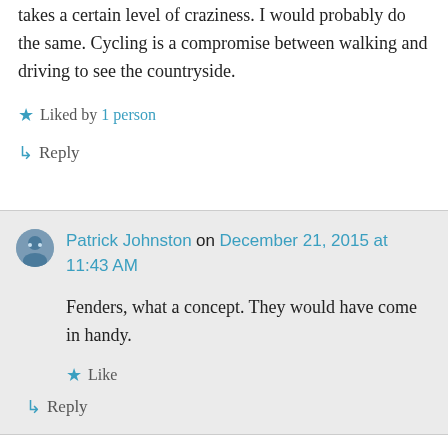takes a certain level of craziness. I would probably do the same. Cycling is a compromise between walking and driving to see the countryside.
★ Liked by 1 person
↳ Reply
Patrick Johnston on December 21, 2015 at 11:43 AM
Fenders, what a concept. They would have come in handy.
★ Like
↳ Reply